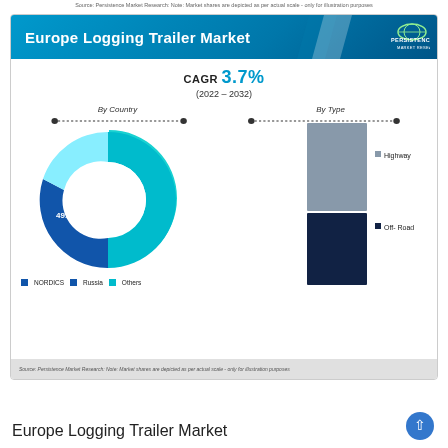Source: Persistence Market Research: Note: Market shares are depicted as per actual scale - only for illustration purposes
[Figure (infographic): Europe Logging Trailer Market infographic showing CAGR 3.7% (2022-2032), a donut chart by Country (NORDICS 49.9%, Russia, Others) and a stacked bar chart by Type (Highway, Off-Road)]
CAGR 3.7% (2022 – 2032)
Europe Logging Trailer Market